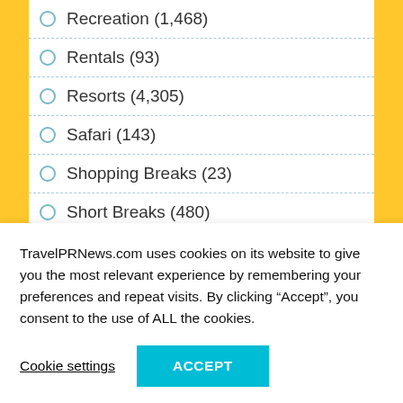Recreation (1,468)
Rentals (93)
Resorts (4,305)
Safari (143)
Shopping Breaks (23)
Short Breaks (480)
Society (1,869)
SPAs & Wellness (844)
Sports (829)
TravelPRNews.com uses cookies on its website to give you the most relevant experience by remembering your preferences and repeat visits. By clicking “Accept”, you consent to the use of ALL the cookies.
Cookie settings
ACCEPT